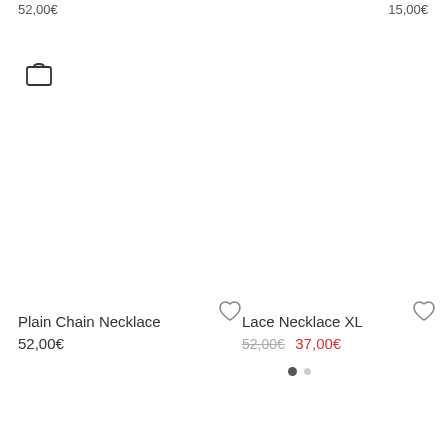52,00€
15,00€
[Figure (illustration): Shopping bag icon]
Plain Chain Necklace
52,00€
[Figure (illustration): Heart/wishlist icon]
Lace Necklace XL
52,00€ 37,00€
[Figure (illustration): Heart/wishlist icon]
[Figure (illustration): Pagination dots: one filled dark circle and one lighter smaller circle]